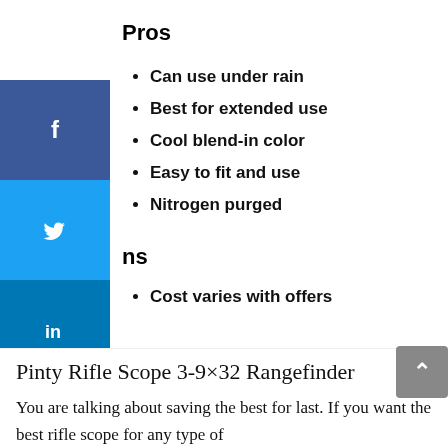Pros
Can use under rain
Best for extended use
Cool blend-in color
Easy to fit and use
Nitrogen purged
ns
Cost varies with offers
Pinty Rifle Scope 3-9×32 Rangefinder
You are talking about saving the best for last. If you want the best rifle scope for any type of